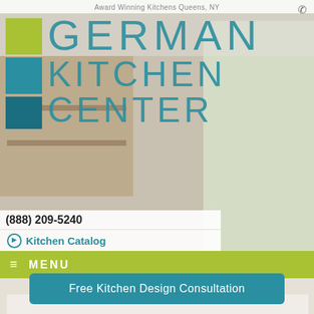Award Winning Kitchens Queens, NY
[Figure (logo): German Kitchen Center logo with green and teal squares and large teal text reading GERMAN KITCHEN CENTER]
[Figure (photo): Background photo of a modern white kitchen with island cooktop and wood cabinets]
(888) 209-5240
Kitchen Catalog
Kitchen Cost
≡ MENU
Free Kitchen Design Consultation